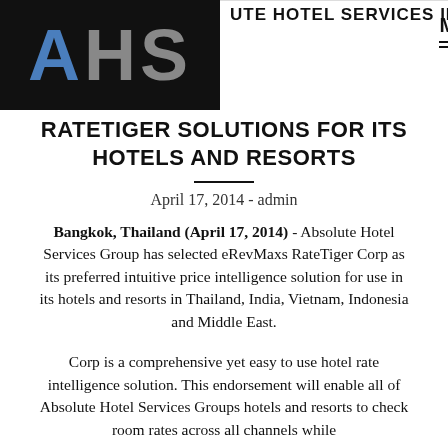AHS | MENU
ABSOLUTE HOTEL SERVICES IMPLEMENTS RATETIGER SOLUTIONS FOR ITS HOTELS AND RESORTS
April 17, 2014 - admin
Bangkok, Thailand (April 17, 2014) - Absolute Hotel Services Group has selected eRevMaxs RateTiger Corp as its preferred intuitive price intelligence solution for use in its hotels and resorts in Thailand, India, Vietnam, Indonesia and Middle East.
Corp is a comprehensive yet easy to use hotel rate intelligence solution. This endorsement will enable all of Absolute Hotel Services Groups hotels and resorts to check room rates across all channels while